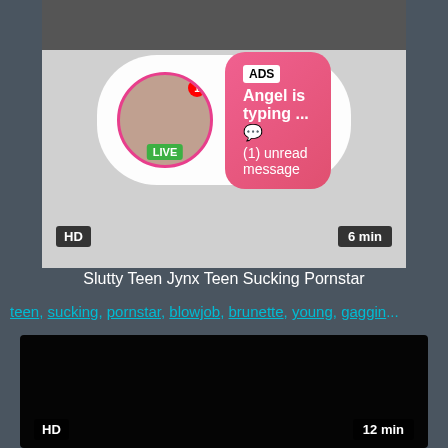[Figure (screenshot): Video thumbnail with overlay notification showing ADS bubble, avatar with LIVE badge, HD badge and 6 min duration]
Slutty Teen Jynx Teen Sucking Pornstar
teen, sucking, pornstar, blowjob, brunette, young, gaggin...
[Figure (screenshot): Dark/black video thumbnail with HD badge and 12 min duration]